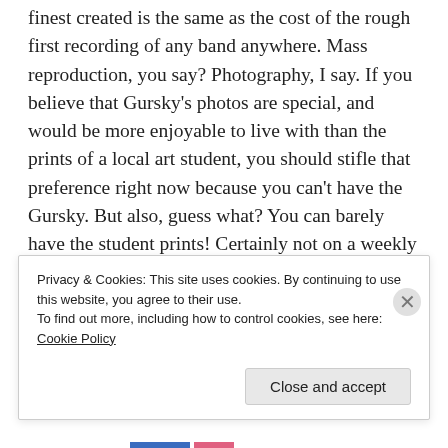finest created is the same as the cost of the rough first recording of any band anywhere. Mass reproduction, you say? Photography, I say. If you believe that Gursky's photos are special, and would be more enjoyable to live with than the prints of a local art student, you should stifle that preference right now because you can't have the Gursky. But also, guess what? You can barely have the student prints! Certainly not on a weekly basis like a movie, and often not even on an annual splashout like your traditional birthday opera. Perhaps simply by virtue of the fact that Gursky is working in the same line, the unestablished photographer's work starts at a much
Privacy & Cookies: This site uses cookies. By continuing to use this website, you agree to their use.
To find out more, including how to control cookies, see here: Cookie Policy
Close and accept